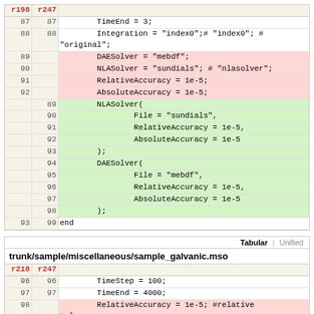| r198 | r247 | code |
| --- | --- | --- |
| 87 | 87 | TimeEnd = 3; |
| 88 | 88 | Integration = "index0";# "index0"; # "original"; |
| 89 |  | DAESolver = "mebdf"; |
| 90 |  | NLASolver = "sundials"; # "nlasolver"; |
| 91 |  | RelativeAccuracy = 1e-5; |
| 92 |  | AbsoluteAccuracy = 1e-5; |
|  | 89 | NLASolver( |
|  | 90 |     File = "sundials", |
|  | 91 |     RelativeAccuracy = 1e-5, |
|  | 92 |     AbsoluteAccuracy = 1e-5 |
|  | 93 | ); |
|  | 94 | DAESolver( |
|  | 95 |     File = "mebdf", |
|  | 96 |     RelativeAccuracy = 1e-5, |
|  | 97 |     AbsoluteAccuracy = 1e-5 |
|  | 98 | ); |
| 93 | 99 | end |
| r218 | r247 | code |
| --- | --- | --- |
| 96 | 96 | TimeStep = 100; |
| 97 | 97 | TimeEnd = 4000; |
| 98 |  | RelativeAccuracy = 1e-5; #relative tolerance |
| 99 |  | AbsoluteAccuracy = 1e-8; #absolute tolerance |